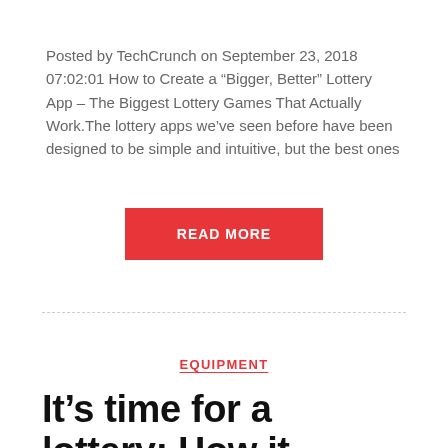Posted by TechCrunch on September 23, 2018 07:02:01 How to Create a “Bigger, Better” Lottery App – The Biggest Lottery Games That Actually Work.The lottery apps we’ve seen before have been designed to be simple and intuitive, but the best ones
READ MORE
EQUIPMENT
It’s time for a lottery: How it